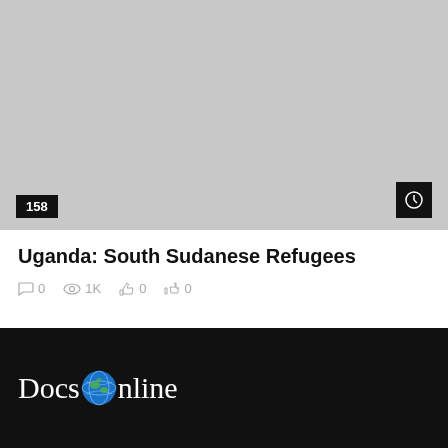[Figure (photo): Gray placeholder image area with a count badge '158' in the bottom-left corner and a clock/timer icon badge in the bottom-right corner.]
Uganda: South Sudanese Refugees
0  1K  0  0 (comment count, view count, like count, dislike count)
[Figure (logo): DocsOnline logo with a globe earth emoji between 'Docs' and 'nline' on a black background.]